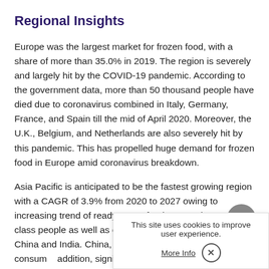Regional Insights
Europe was the largest market for frozen food, with a share of more than 35.0% in 2019. The region is severely and largely hit by the COVID-19 pandemic. According to the government data, more than 50 thousand people have died due to coronavirus combined in Italy, Germany, France, and Spain till the mid of April 2020. Moreover, the U.K., Belgium, and Netherlands are also severely hit by this pandemic. This has propelled huge demand for frozen food in Europe amid coronavirus breakdown.
Asia Pacific is anticipated to be the fastest growing region with a CAGR of 3.9% from 2020 to 2027 owing to increasing trend of ready-to-eat food among the working-class people as well as college grads of countries such as China and India. China, India... markets, in terms of consum... addition, significant rise in th...